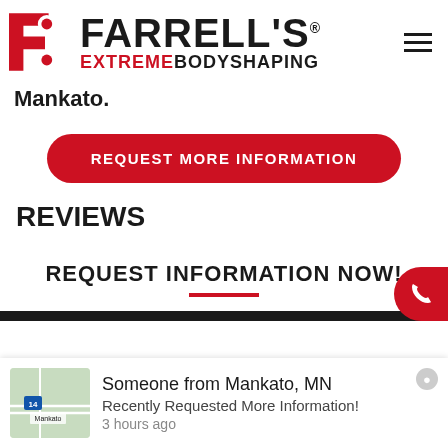[Figure (logo): Farrell's Extreme Bodyshaping logo with red icon and black/red text]
Mankato.
REQUEST MORE INFORMATION
REVIEWS
REQUEST INFORMATION NOW!
Someone from Mankato, MN
Recently Requested More Information!
3 hours ago